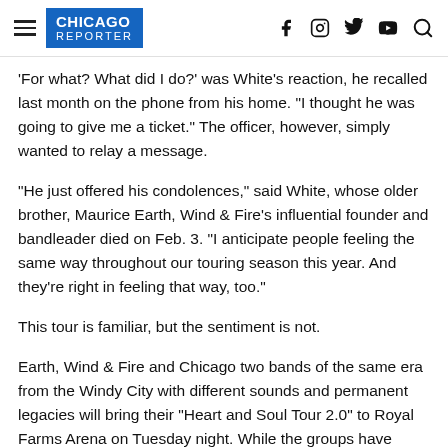Chicago Reporter
'For what? What did I do?' was White's reaction, he recalled last month on the phone from his home. 'I thought he was going to give me a ticket.' The officer, however, simply wanted to relay a message.
'He just offered his condolences,' said White, whose older brother, Maurice Earth, Wind & Fire's influential founder and bandleader died on Feb. 3. 'I anticipate people feeling the same way throughout our touring season this year. And they're right in feeling that way, too.'
This tour is familiar, but the sentiment is not.
Earth, Wind & Fire and Chicago two bands of the same era from the Windy City with different sounds and permanent legacies will bring their "Heart and Soul Tour 2.0" to Royal Farms Arena on Tuesday night. While the groups have toured together before, in 2004 and 2009, this particular run has